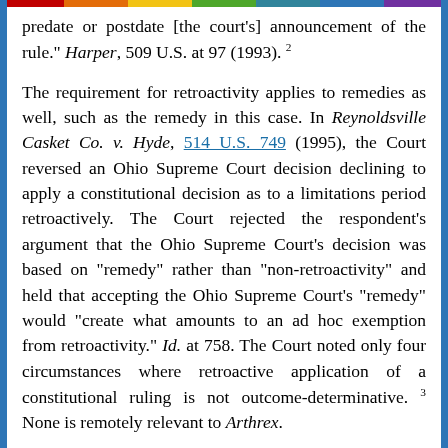predate or postdate [the court's] announcement of the rule." Harper, 509 U.S. at 97 (1993). 2
The requirement for retroactivity applies to remedies as well, such as the remedy in this case. In Reynoldsville Casket Co. v. Hyde, 514 U.S. 749 (1995), the Court reversed an Ohio Supreme Court decision declining to apply a constitutional decision as to a limitations period retroactively. The Court rejected the respondent's argument that the Ohio Supreme Court's decision was based on "remedy" rather than "non-retroactivity" and held that accepting the Ohio Supreme Court's "remedy" would "create what amounts to an ad hoc exemption from retroactivity." Id. at 758. The Court noted only four circumstances where retroactive application of a constitutional ruling is not outcome-determinative. 3 None is remotely relevant to Arthrex.
Thus, to be consistent with Harper, the statute